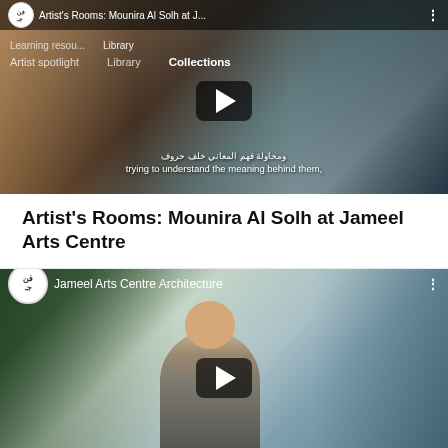[Figure (screenshot): YouTube video thumbnail for 'Artist's Rooms: Mounira Al Solh at J...' showing people in conversation with subtitle text in Arabic and English: 'trying to understand the meaning behind them,']
Artist's Rooms: Mounira Al Solh at Jameel Arts Centre
[Figure (screenshot): YouTube video thumbnail for 'Jameel Arts Centre Architecture' showing a man in front of glass architecture with trees]